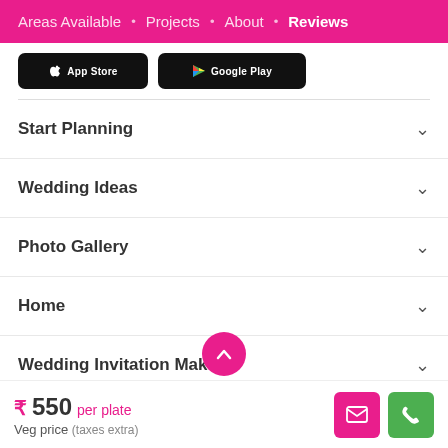Areas Available • Projects • About • Reviews
[Figure (screenshot): App Store and Google Play download buttons on black rounded rectangle backgrounds]
Start Planning
Wedding Ideas
Photo Gallery
Home
Wedding Invitation Maker
₹ 550 per plate
Veg price (taxes extra)